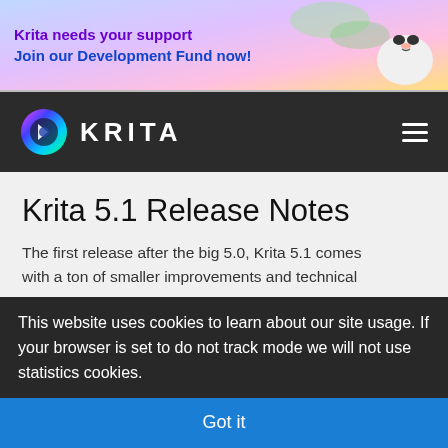[Figure (illustration): Krita promotional banner ad with colorful panda art and text: 'Krita needs your support / Join our Development Fund now!']
KRITA
Krita 5.1 Release Notes
The first release after the big 5.0, Krita 5.1 comes with a ton of smaller improvements and technical
This website uses cookies to learn about our site usage. If your browser is set to do not track mode we will not use statistics cookies.
Got it